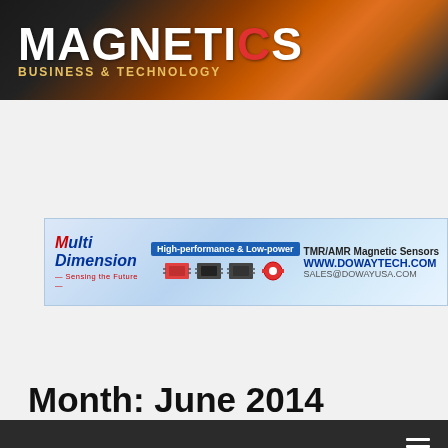MAGNETICS BUSINESS & TECHNOLOGY
[Figure (logo): Magnetics Business & Technology logo on dark gradient background with orange streak]
[Figure (photo): MultiDimension advertisement banner for High-performance & Low-power TMR/AMR Magnetic Sensors, www.dowaytech.com, sales@dowayusa.com]
SEARCH ...
HOME > 2014 > June
Month: June 2014
Nanomagnetics: Materials, Devices and